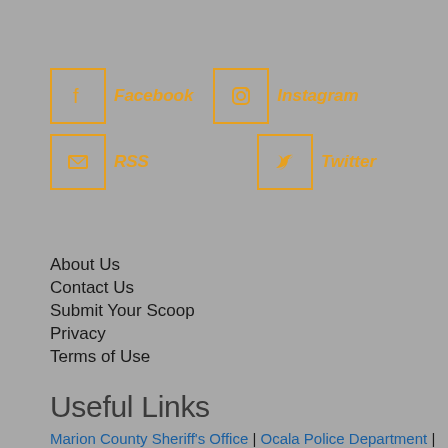[Figure (other): Social media icons and labels: Facebook, Instagram, RSS, Twitter]
About Us
Contact Us
Submit Your Scoop
Privacy
Terms of Use
Useful Links
Marion County Sheriff's Office | Ocala Police Department | Ocala Fire Rescue | Marion County Fire Rescue | Kimberly's Center for Child